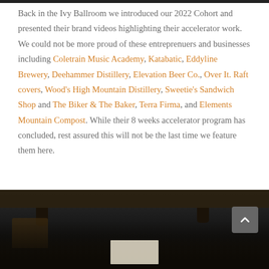Back in the Ivy Ballroom we introduced our 2022 Cohort and presented their brand videos highlighting their accelerator work. We could not be more proud of these entreprenuers and businesses including Coletrain Music Academy, Katabatic, Eddyline Brewery, Deehammer Distillery, Elevation Beer Co., Over It. Raft covers, Wood's High Mountain Distillery, Sweetie's Sandwich Shop and The Biker & The Baker, Terra Firma, and Elements Mountain Compost. While their 8 weeks accelerator program has concluded, rest assured this will not be the last time we feature them here.
[Figure (photo): Dark indoor venue photo, bottom portion of page showing overhead wooden beams and bar area with dim lighting. A scroll-to-top button (chevron up) is visible in the upper right of the image area.]